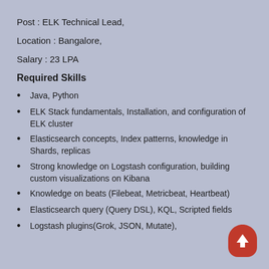Post : ELK Technical Lead,
Location : Bangalore,
Salary : 23 LPA
Required Skills
Java, Python
ELK Stack fundamentals, Installation, and configuration of ELK cluster
Elasticsearch concepts, Index patterns, knowledge in Shards, replicas
Strong knowledge on Logstash configuration, building custom visualizations on Kibana
Knowledge on beats (Filebeat, Metricbeat, Heartbeat)
Elasticsearch query (Query DSL), KQL, Scripted fields
Logstash plugins(Grok, JSON, Mutate),